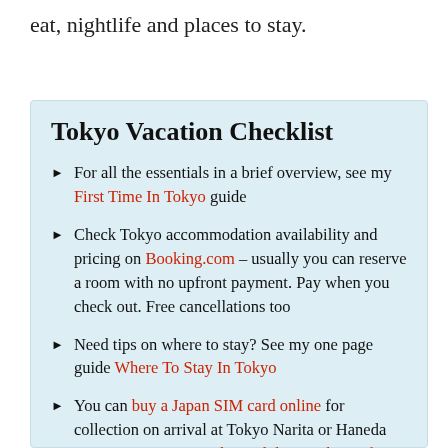eat, nightlife and places to stay.
Tokyo Vacation Checklist
For all the essentials in a brief overview, see my First Time In Tokyo guide
Check Tokyo accommodation availability and pricing on Booking.com – usually you can reserve a room with no upfront payment. Pay when you check out. Free cancellations too
Need tips on where to stay? See my one page guide Where To Stay In Tokyo
You can buy a Japan SIM card online for collection on arrival at Tokyo Narita or Haneda airports. Or rent an unlimited data pocket wifi router
See my comprehensive Packing List For